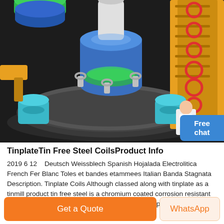[Figure (illustration): 3D CAD rendering of an industrial tinplate/tin free steel coil processing machine. The machine features a large circular rotating table in dark grey/black, with blue cylindrical components, yellow structural frames on the right side with red safety rings/lifts, green disc elements, cyan/teal motor housings, and silver shackle/hook fittings. A small customer service avatar with a blue 'Free chat' button overlay appears in the bottom-right corner of the image.]
TinplateTin Free Steel CoilsProduct Info
2019 6 12    Deutsch Weissblech Spanish Hojalada Electrolitica French Fer Blanc Toles et bandes etammees Italian Banda Stagnata Description. Tinplate Coils Although classed along with tinplate as a tinmill product tin free steel is a chromium coated corrosion resistant steel which like tinplate is used for food and other packaging applications.